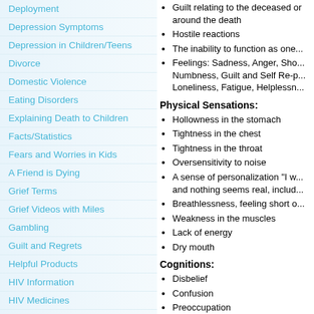Deployment
Depression Symptoms
Depression in Children/Teens
Divorce
Domestic Violence
Eating Disorders
Explaining Death to Children
Facts/Statistics
Fears and Worries in Kids
A Friend is Dying
Grief Terms
Grief Videos with Miles
Gambling
Guilt and Regrets
Helpful Products
HIV Information
HIV Medicines
HIV/AIDS support groups
HIV Testing in NJ
Guilt relating to the deceased or around the death
Hostile reactions
The inability to function as one...
Feelings: Sadness, Anger, Sho... Numbness, Guilt and Self Re-p... Loneliness, Fatigue, Helplessn...
Physical Sensations:
Hollowness in the stomach
Tightness in the chest
Tightness in the throat
Oversensitivity to noise
A sense of personalization "I w... and nothing seems real, includ...
Breathlessness, feeling short o...
Weakness in the muscles
Lack of energy
Dry mouth
Cognitions:
Disbelief
Confusion
Preoccupation
Sense of Presence
Hallucinations (often transient... often occurring within a few we... loss, and generally do not poin... grief). Many find these experie...